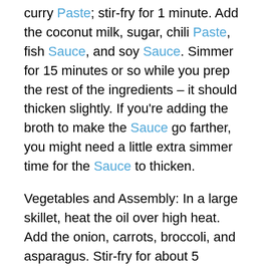curry Paste; stir-fry for 1 minute. Add the coconut milk, sugar, chili Paste, fish Sauce, and soy Sauce. Simmer for 15 minutes or so while you prep the rest of the ingredients – it should thicken slightly. If you're adding the broth to make the Sauce go farther, you might need a little extra simmer time for the Sauce to thicken.
Vegetables and Assembly: In a large skillet, heat the oil over high heat. Add the onion, carrots, broccoli, and asparagus. Stir-fry for about 5 minutes until the broccoli and asparagus are bright green. Add the noodles and toss around in the pan with the vegetables. Add the Sauce and toss together until just combined (if you cook it too long at this point, the noodles might get too sticky). Serve topped with the purple cabbage and sesame seeds and a